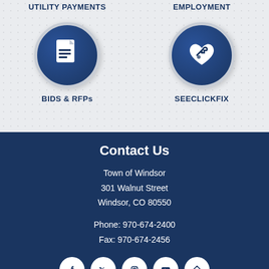[Figure (infographic): Two circular icons on grey dotted background: document icon labeled UTILITY PAYMENTS (top-left, partially visible) and person/employment icon (top-right, partially visible). Below: document/bids icon labeled BIDS & RFPs and heart/wrench icon labeled SEECLICKFIX.]
UTILITY PAYMENTS
EMPLOYMENT
BIDS & RFPs
SEECLICKFIX
Contact Us
Town of Windsor
301 Walnut Street
Windsor, CO 80550
Phone: 970-674-2400
Fax: 970-674-2456
[Figure (infographic): Row of social media icons (Facebook, Twitter/X, Instagram, YouTube, and one more) in white circles on dark navy background.]